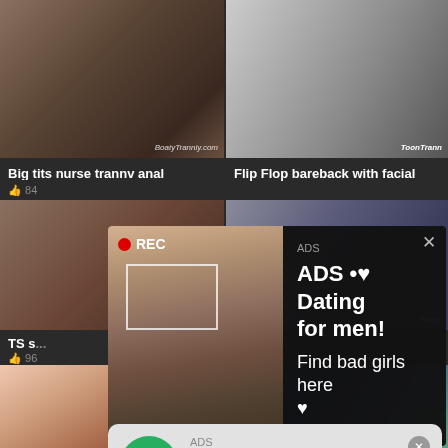[Figure (screenshot): Adult video thumbnail grid website background with dark theme]
Big tits nurse trannv anal
👍 84
Flip Flop bareback with facial
TS s...
👍 96
[Figure (screenshot): Dark ad popup overlay with selfie photo of woman and REC badge. Text: ADS • ♥ Dating for men! Find bad girls here ♥]
ADS • ♥ Dating for men!
Find bad girls here ♥
[Figure (screenshot): Fake missed call notification ad. ADS label, (1)Missed Call from Eliza, pleeease call me back.. I miss you! Audio player with 0:00 / 3:23 and playback controls.]
ADS
(1)Missed Call from Eliza
pleeease call me back.. I miss you!
0:00
3:23